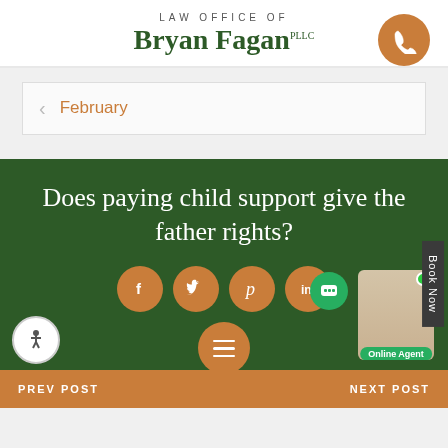LAW OFFICE OF Bryan Fagan PLLC
February
Does paying child support give the father rights?
PREV POST
NEXT POST
Online Agent
Book Now